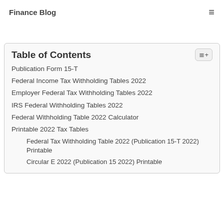Finance Blog
Table of Contents
Publication Form 15-T
Federal Income Tax Withholding Tables 2022
Employer Federal Tax Withholding Tables 2022
IRS Federal Withholding Tables 2022
Federal Withholding Table 2022 Calculator
Printable 2022 Tax Tables
Federal Tax Withholding Table 2022 (Publication 15-T 2022) Printable
Circular E 2022 (Publication 15 2022) Printable